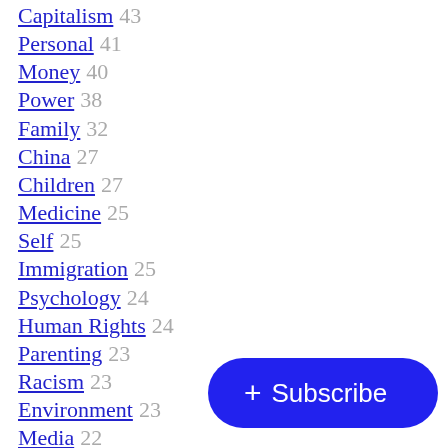Capitalism 43
Personal 41
Money 40
Power 38
Family 32
China 27
Children 27
Medicine 25
Self 25
Immigration 25
Psychology 24
Human Rights 24
Parenting 23
Racism 23
Environment 23
Media 22
White Empire 20
Writing 20
Religion 20
Startup 20
Race 19
Culture 19